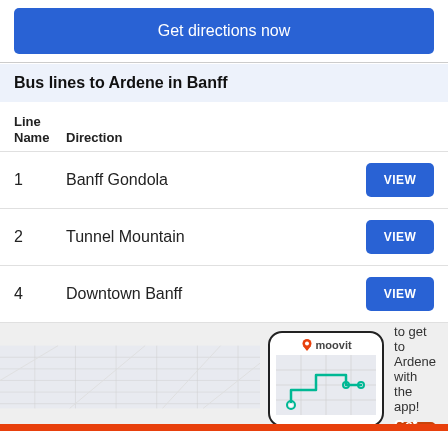Get directions now
Bus lines to Ardene in Banff
| Line Name | Direction |  |
| --- | --- | --- |
| 1 | Banff Gondola | VIEW |
| 2 | Tunnel Mountain | VIEW |
| 4 | Downtown Banff | VIEW |
It's easier to get to Ardene with the app!
[Figure (screenshot): Moovit app phone mockup with map and route illustration]
Get the App